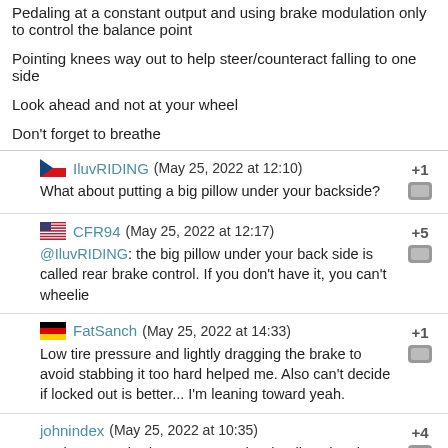Pedaling at a constant output and using brake modulation only to control the balance point
Pointing knees way out to help steer/counteract falling to one side
Look ahead and not at your wheel
Don't forget to breathe
IluvRIDING (May 25, 2022 at 12:10) +1
What about putting a big pillow under your backside?
CFR94 (May 25, 2022 at 12:17) +5
@IluvRIDING: the big pillow under your back side is called rear brake control. If you don't have it, you can't wheelie
FatSanch (May 25, 2022 at 14:33) +1
Low tire pressure and lightly dragging the brake to avoid stabbing it too hard helped me. Also can't decide if locked out is better... I'm leaning toward yeah.
johnindex (May 25, 2022 at 10:35) +4
yeah, I never had to LEARN to do wheelies, they just came naturally